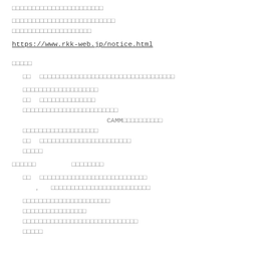□□□□□□□□□□□□□□□□□□□□□□
□□□□□□□□□□□□□□□□□□□□□□□□□□
□□□□□□□□□□□□□□□□□□□□
https://www.rkk-web.jp/notice.html
□□□□□
□□　□□□□□□□□□□□□□□□□□□□□□□□□□□□□□□□□□□
□□□□□□□□□□□□□□□□□□□
□□　□□□□□□□□□□□□□□
□□□□□□□□□□□□□□□□□□□□□□□□
CAMM□□□□□□□□□□
□□□□□□□□□□□□□□□□□□□
□□　□□□□□□□□□□□□□□□□□□□□□□□
□□□□□
□□□□□□　　□□□□□□□□
□□　□□□□□□□□□□□□□□□□□□□□□□□□□□□
　　　，　　□□□□□□□□□□□□□□□□□□□□□□□□□
□□□□□□□□□□□□□□□□□□□□□□
□□□□□□□□□□□□□□□□
□□□□□□□□□□□□□□□□□□□□□□□□□□□□□
□□□□□